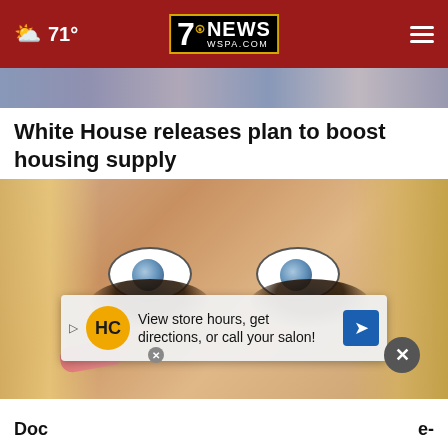71° | 7NEWS WSPA.COM
[Figure (photo): Partial top image showing people in blue clothing]
White House releases plan to boost housing supply
[Figure (photo): Woman with dramatic, heavily smudged black eye makeup applying makeup with pink fingernail, wearing earrings, with blonde hair pulled back]
Doc
e-